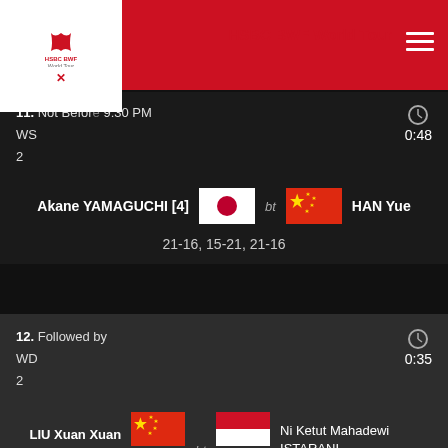HSBC BWF World Tour
11. Not Before 9:30 PM
WS
2
0:48
Akane YAMAGUCHI [4] bt HAN Yue
21-16, 15-21, 21-16
12. Followed by
WD
2
0:35
LIU Xuan Xuan / XIA Yu Ting bt Ni Ketut Mahadewi ISTARANI / Rizki Amelia PRADIPTA
21-16, 21-15
13. Followed by
WD
2
0:33